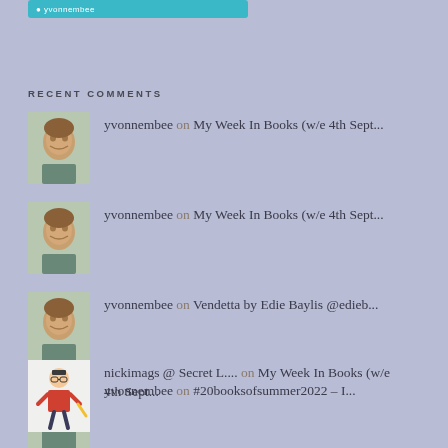[Figure (other): Teal/cyan button bar at top]
RECENT COMMENTS
yvonnembee on My Week In Books (w/e 4th Sept...
yvonnembee on My Week In Books (w/e 4th Sept...
yvonnembee on Vendetta by Edie Baylis @edieb...
yvonnembee on #20booksofsummer2022 – I...
nickimags @ Secret L.... on My Week In Books (w/e 4th Sept...